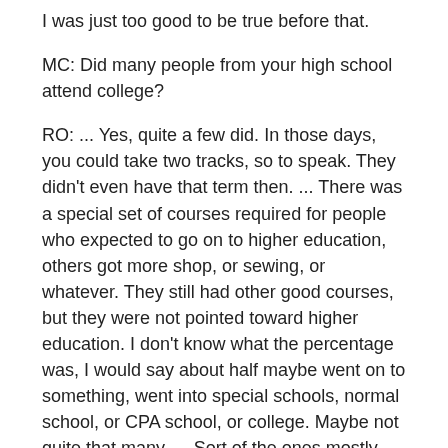I was just too good to be true before that.
MC: Did many people from your high school attend college?
RO: ... Yes, quite a few did. In those days, you could take two tracks, so to speak. They didn't even have that term then. ... There was a special set of courses required for people who expected to go on to higher education, others got more shop, or sewing, or whatever. They still had other good courses, but they were not pointed toward higher education. I don't know what the percentage was, I would say about half maybe went on to something, went into special schools, normal school, or CPA school, or college. Maybe not quite that many. ... Sort of the ones mostly that I [was] associating with [went to college]. When you asked earlier about cliques, possibly, between the country kids and stuff, I wasn't aware of it too much, except there were definitely some. People tended to stay with their friends, the ones they had gone to grade school with. I broke into the other groups. In fact, I was in several different groups,